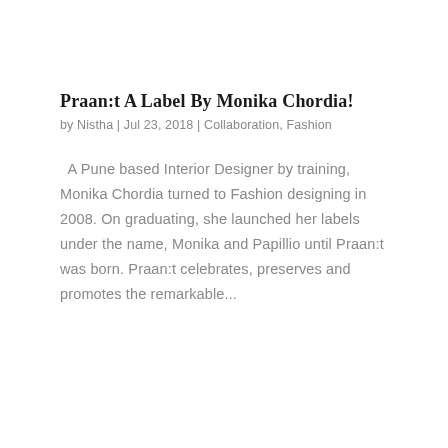Praan:t A Label By Monika Chordia!
by Nistha | Jul 23, 2018 | Collaboration, Fashion
A Pune based Interior Designer by training, Monika Chordia turned to Fashion designing in 2008. On graduating, she launched her labels under the name, Monika and Papillio until Praan:t was born. Praan:t celebrates, preserves and promotes the remarkable...